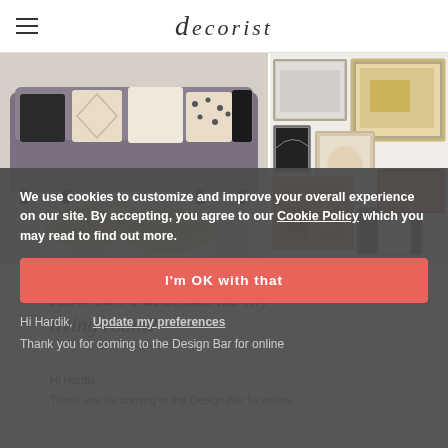decorist
[Figure (photo): Gray sofa with decorative pillows on a striped rug with gold coffee tables]
[Figure (photo): Gallery wall arrangement with framed art prints in terracotta and neutral tones]
ACCESSORY HELP
How can I accessorize my living room?
Hi Hardik,
Thank you for coming to the Design Bar for online
We use cookies to customize and improve your overall experience on our site. By accepting, you agree to our Cookie Policy which you may read to find out more.
I'm OK with that
Hi Hardik,   Update my preferences